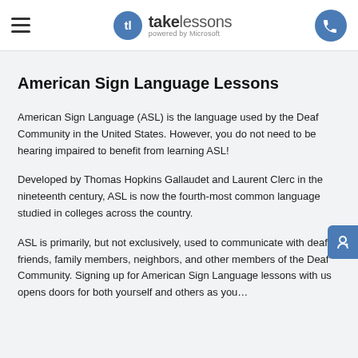takelessons powered by Microsoft
American Sign Language Lessons
American Sign Language (ASL) is the language used by the Deaf Community in the United States. However, you do not need to be hearing impaired to benefit from learning ASL!
Developed by Thomas Hopkins Gallaudet and Laurent Clerc in the nineteenth century, ASL is now the fourth-most common language studied in colleges across the country.
ASL is primarily, but not exclusively, used to communicate with deaf friends, family members, neighbors, and other members of the Deaf Community. Signing up for American Sign Language lessons with us opens doors for both yourself and others as you…